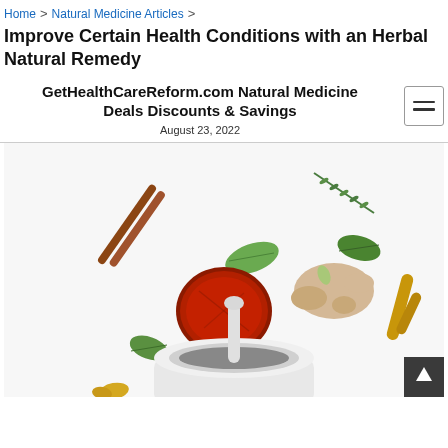Home > Natural Medicine Articles > Improve Certain Health Conditions with an Herbal Natural Remedy
Improve Certain Health Conditions with an Herbal Natural Remedy
GetHealthCareReform.com Natural Medicine Deals Discounts & Savings
August 23, 2022
[Figure (photo): Flat lay of various herbal natural remedy ingredients on a white background: cinnamon sticks, dried red fruit/mushroom slice, green herb leaves, ginger root, turmeric root, rosemary sprig, and a white mortar and pestle with ground spices]